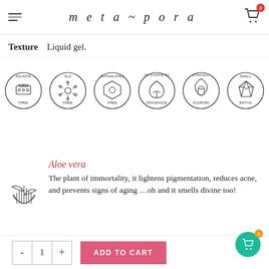meta~pora
Texture    Liquid gel.
[Figure (infographic): Six circular badge icons: Sulfate Free, SLS Free, Phthalates Free, No Synthetic Fragrance, Ethically Sourced, Small Batch]
Aloe vera
The plant of immortality, it lightens pigmentation, reduces acne, and prevents signs of aging …oh and it smells divine too!